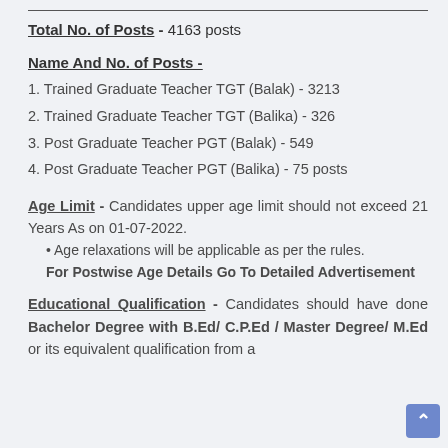Total No. of Posts - 4163 posts
Name And No. of Posts -
1. Trained Graduate Teacher TGT (Balak) - 3213
2. Trained Graduate Teacher TGT (Balika) - 326
3. Post Graduate Teacher PGT (Balak) - 549
4. Post Graduate Teacher PGT (Balika) - 75 posts
Age Limit - Candidates upper age limit should not exceed 21 Years As on 01-07-2022.
Age relaxations will be applicable as per the rules. For Postwise Age Details Go To Detailed Advertisement
Educational Qualification - Candidates should have done Bachelor Degree with B.Ed/ C.P.Ed / Master Degree/ M.Ed or its equivalent qualification from a